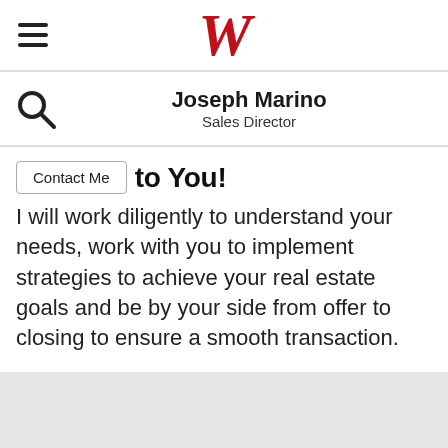W
Joseph Marino
Sales Director
to You!
I will work diligently to understand your needs, work with you to implement strategies to achieve your real estate goals and be by your side from offer to closing to ensure a smooth transaction.